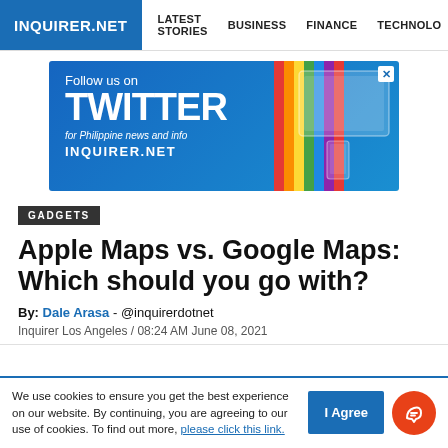INQUIRER.NET  LATEST STORIES  BUSINESS  FINANCE  TECHNOLO
[Figure (illustration): Follow us on TWITTER for Philippine news and info INQUIRER.NET advertisement banner with rainbow stripes and device images]
GADGETS
Apple Maps vs. Google Maps: Which should you go with?
By: Dale Arasa - @inquirerdotnet
Inquirer Los Angeles / 08:24 AM June 08, 2021
We use cookies to ensure you get the best experience on our website. By continuing, you are agreeing to our use of cookies. To find out more, please click this link.